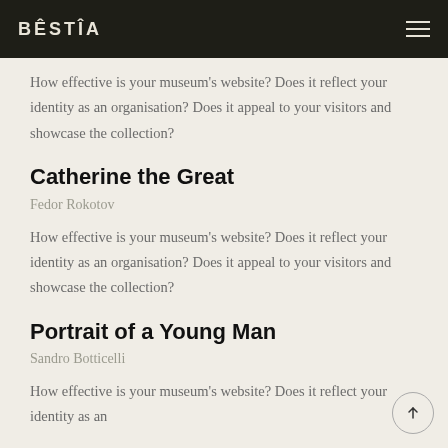BÊSTÎA
How effective is your museum's website? Does it reflect your identity as an organisation? Does it appeal to your visitors and showcase the collection?
Catherine the Great
Fedor Rokotov
How effective is your museum's website? Does it reflect your identity as an organisation? Does it appeal to your visitors and showcase the collection?
Portrait of a Young Man
Sandro Botticelli
How effective is your museum's website? Does it reflect your identity as an